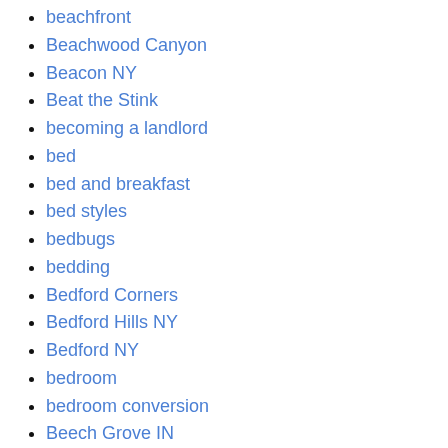beachfront
Beachwood Canyon
Beacon NY
Beat the Stink
becoming a landlord
bed
bed and breakfast
bed styles
bedbugs
bedding
Bedford Corners
Bedford Hills NY
Bedford NY
bedroom
bedroom conversion
Beech Grove IN
beer
before and after
behind the design